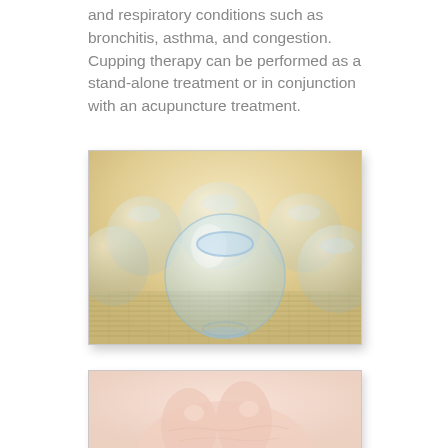and respiratory conditions such as bronchitis, asthma, and congestion. Cupping therapy can be performed as a stand-alone treatment or in conjunction with an acupuncture treatment.
[Figure (photo): Photograph of multiple clear glass cupping therapy cups arranged on a bamboo mat, with warm golden background. One large cup is prominently in the foreground.]
[Figure (photo): Photograph showing a close-up of hands, likely demonstrating a massage or acupuncture technique on skin.]